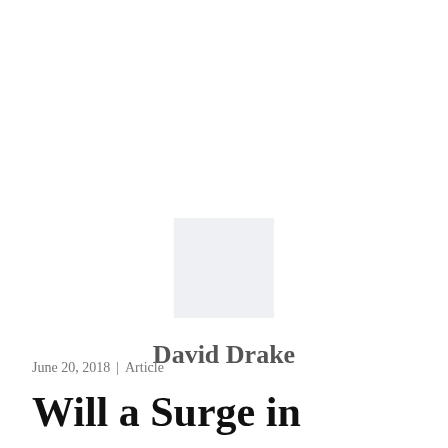[Figure (photo): Avatar placeholder image — a light grey square representing a user profile photo, centered on the page]
David Drake
June 20, 2018  |  Article
Will a Surge in